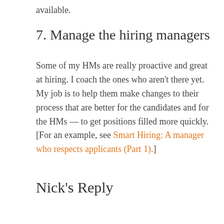available.
7. Manage the hiring managers
Some of my HMs are really proactive and great at hiring. I coach the ones who aren't there yet. My job is to help them make changes to their process that are better for the candidates and for the HMs — to get positions filled more quickly. [For an example, see Smart Hiring: A manager who respects applicants (Part 1).]
Nick's Reply
[Figure (infographic): Infolinks advertisement banner with SmartPak logo and product image]